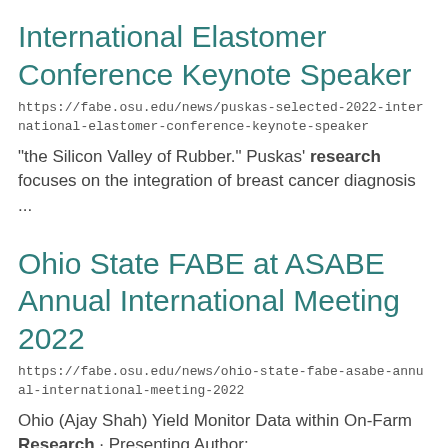International Elastomer Conference Keynote Speaker
https://fabe.osu.edu/news/puskas-selected-2022-international-elastomer-conference-keynote-speaker
“the Silicon Valley of Rubber.” Puskas’ research focuses on the integration of breast cancer diagnosis ...
Ohio State FABE at ASABE Annual International Meeting 2022
https://fabe.osu.edu/news/ohio-state-fabe-asabe-annual-international-meeting-2022
Ohio (Ajay Shah) Yield Monitor Data within On-Farm Research · Presenting Author: